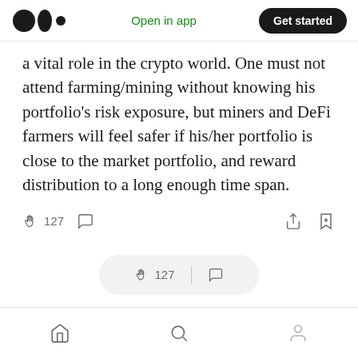Medium app header with logo, Open in app, Get started
a vital role in the crypto world. One must not attend farming/mining without knowing his portfolio’s risk exposure, but miners and DeFi farmers will feel safer if his/her portfolio is close to the market portfolio, and reward distribution to a long enough time span.
[Figure (screenshot): Action bar with clap icon showing 127, comment icon, share icon, and bookmark icon]
[Figure (screenshot): Floating action bar with clap icon showing 127 and comment icon on grey pill background]
Bottom navigation bar with home, search, and profile icons